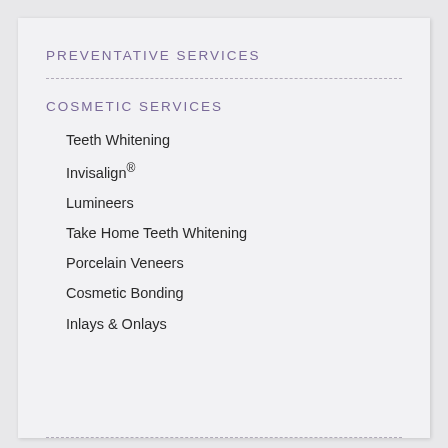PREVENTATIVE SERVICES
COSMETIC SERVICES
Teeth Whitening
Invisalign®
Lumineers
Take Home Teeth Whitening
Porcelain Veneers
Cosmetic Bonding
Inlays & Onlays